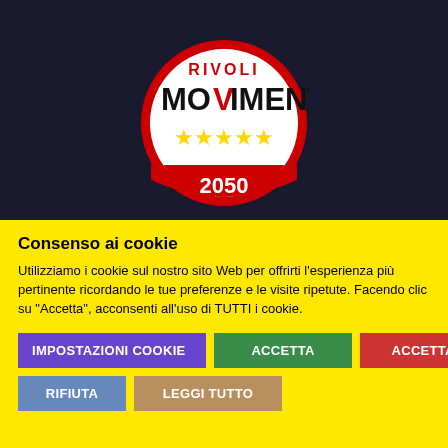[Figure (logo): Movimento 5 Stelle Rivoli 2050 circular logo with red border, white background, 'RIVOLI' in red text, 'MOVIMENTO' in bold black, stylized red V, five gold stars, and '2050' in white on red band at bottom]
Consenso ai cookie
Utilizziamo i cookie sul nostro sito Web per offrirti l'esperienza più pertinente ricordando le tue preferenze e le visite ripetute. Facendo clic su "Accetta", acconsenti all'uso di TUTTI i cookie.
IMPOSTAZIONI Cookie
ACCETTA
ACCETTA TUTTI
RIFIUTA
LEGGI TUTTO